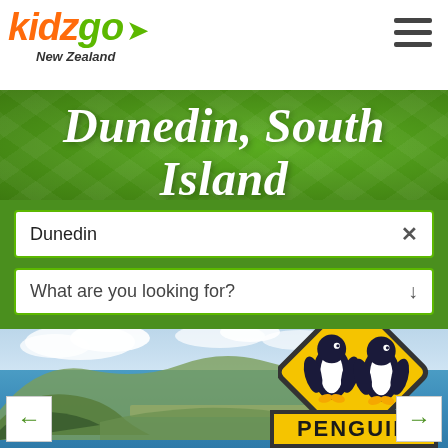[Figure (logo): Kidz Go New Zealand logo with orange and green text and arrow]
Dunedin, South Island
Dunedin
What are you looking for?
[Figure (photo): Scenic photo of Dunedin coastline with hills, blue water, and a yellow diamond-shaped penguin crossing road sign in the foreground]